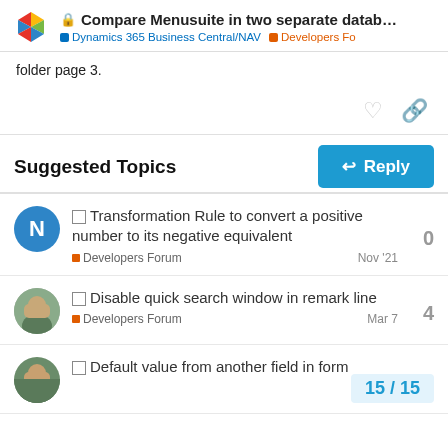Compare Menusuite in two separate datab... | Dynamics 365 Business Central/NAV | Developers Fo
folder page 3.
Reply
Suggested Topics
Transformation Rule to convert a positive number to its negative equivalent | Developers Forum | Nov '21 | 0 replies
Disable quick search window in remark line | Developers Forum | Mar 7 | 4 replies
Default value from another field in form | 15 / 15